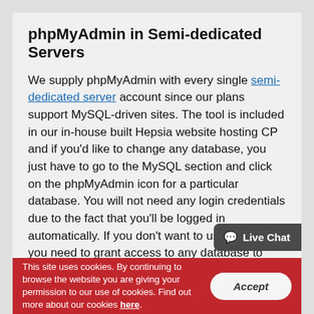phpMyAdmin in Semi-dedicated Servers
We supply phpMyAdmin with every single semi-dedicated server account since our plans support MySQL-driven sites. The tool is included in our in-house built Hepsia website hosting CP and if you'd like to change any database, you just have to go to the MySQL section and click on the phpMyAdmin icon for a particular database. You will not need any login credentials due to the fact that you'll be logged in automatically. If you don't want to use your CP or you need to grant access to any database to another individual for some reason, you shall also have an alternative option - to visit our phpMyAdmin direct login web page where our system will require the database
This site uses cookies. By continuing to browse the website you are giving your permission to our use of cookies. Find out more about our cookies here.